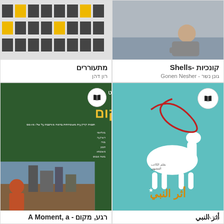[Figure (illustration): Book cover: building windows grid, some yellow, on gray background. Title: מתעוררים]
מתעוררים
רון דהן
[Figure (photo): Book cover: photo of person sitting outdoors by water. Title: קונכיות - Shells]
קונכיות -Shells
גונן נשר - Gonen Nesher
[Figure (illustration): Book cover: green background with Hebrew text רגע, מקום in yellow, author אילנה רימלט, photo of woman with red hair and industrial background]
רגע, מקום - A Moment, a
[Figure (illustration): Book cover: teal background with white camel silhouette and red ribbon design, Arabic title أثر النبي]
أثر النبي